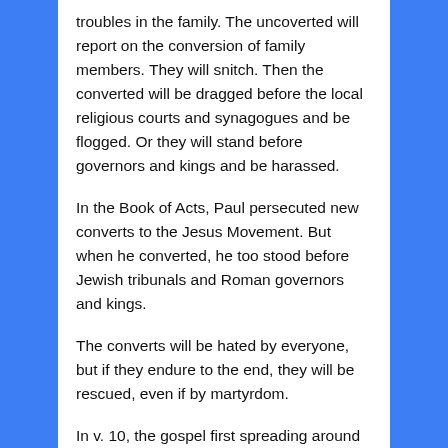troubles in the family. The uncoverted will report on the conversion of family members. They will snitch. Then the converted will be dragged before the local religious courts and synagogues and be flogged. Or they will stand before governors and kings and be harassed.
In the Book of Acts, Paul persecuted new converts to the Jesus Movement. But when he converted, he too stood before Jewish tribunals and Roman governors and kings.
The converts will be hated by everyone, but if they endure to the end, they will be rescued, even if by martyrdom.
In v. 10, the gospel first spreading around the nations happened in their times. They knew nothing about Australia or North and South America, but the gospel did go throughout the Roman empire. Now, with our fuller knowledge the gospel can go around to all nations.
However you interpret v. 10, it has to be fulfilled before Jesus's generation passed away, and it was fulfilled for